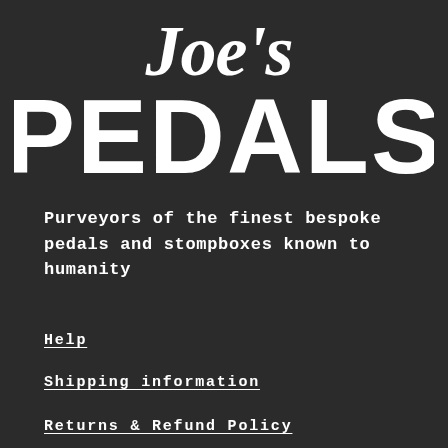[Figure (logo): Joe's Pedals logo — handwritten script 'Joe's' above large bold blocky white text 'PEDALS' on dark background]
Purveyors of the finest bespoke pedals and stompboxes known to humanity
Help
Shipping information
Returns & Refund Policy